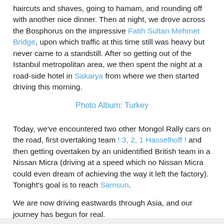haircuts and shaves, going to hamam, and rounding off with another nice dinner. Then at night, we drove across the Bosphorus on the impressive Fatih Sultan Mehmet Bridge, upon which traffic at this time still was heavy but never came to a standstill. After so getting out of the Istanbul metropolitan area, we then spent the night at a road-side hotel in Sakarya from where we then started driving this morning.
Photo Album: Turkey
Today, we've encountered two other Mongol Rally cars on the road, first overtaking team ! 3, 2, 1 Hasselhoff ! and then getting overtaken by an unidentified British team in a Nissan Micra (driving at a speed which no Nissan Micra could even dream of achieving the way it left the factory). Tonight's goal is to reach Samsun.
We are now driving eastwards through Asia, and our journey has begun for real.